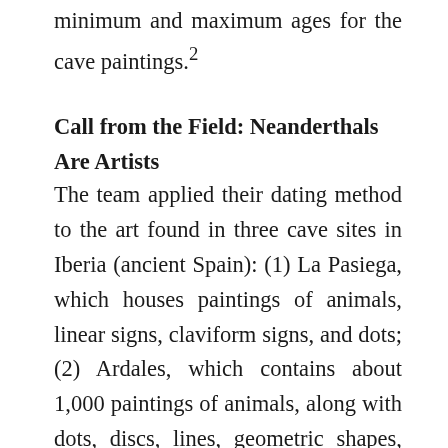minimum and maximum ages for the cave paintings.²
Call from the Field: Neanderthals Are Artists
The team applied their dating method to the art found in three cave sites in Iberia (ancient Spain): (1) La Pasiega, which houses paintings of animals, linear signs, claviform signs, and dots; (2) Ardales, which contains about 1,000 paintings of animals, along with dots, discs, lines, geometric shapes, and hand stencils; and (3) Maltravieso, which displays a set of hand stencils and geometric designs. The research team took a total of 53 samples from 25 carbonate formations